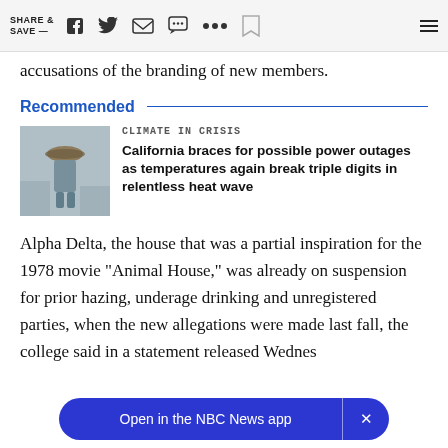SHARE & SAVE —
accusations of the branding of new members.
Recommended
[Figure (photo): Person with hat viewed from behind outdoors]
CLIMATE IN CRISIS
California braces for possible power outages as temperatures again break triple digits in relentless heat wave
Alpha Delta, the house that was a partial inspiration for the 1978 movie "Animal House," was already on suspension for prior hazing, underage drinking and unregistered parties, when the new allegations were made last fall, the college said in a statement released Wednes
Open in the NBC News app